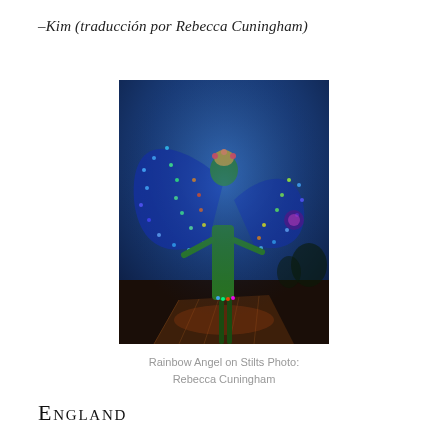–Kim (traducción por Rebecca Cuningham)
[Figure (photo): A performer dressed as a rainbow angel on stilts, wearing colorful LED-lit butterfly wings with rainbow lights (blue, green, red, purple) spread wide, standing on a wooden walkway at dusk/night. Green costume, illuminated wings against a dark blue evening sky.]
Rainbow Angel on Stilts Photo: Rebecca Cuningham
England